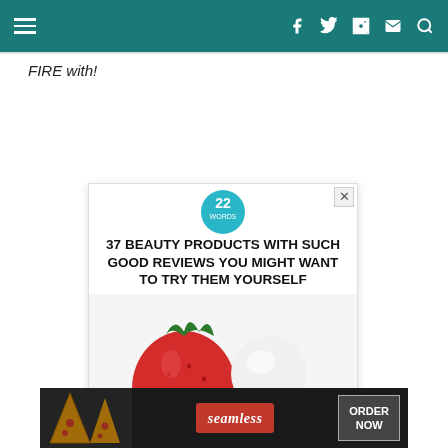FIRE with! [navigation header with hamburger menu and social icons]
FIRE with!
[Figure (advertisement): Pop-up ad for '22 Words' article: '37 BEAUTY PRODUCTS WITH SUCH GOOD REVIEWS YOU MIGHT WANT TO TRY THEM YOURSELF' showing an EOS lip balm next to a strawberry on white background, with a CLOSE button.]
[Figure (advertisement): Bottom banner ad for Seamless food delivery showing pizza slices on the left, the Seamless logo in the center, and an 'ORDER NOW' button on the right.]